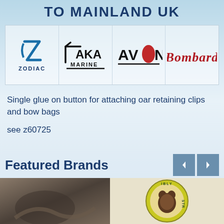TO MAINLAND UK
[Figure (logo): Four brand logos in a row: Zodiac (blue stylized Z with text ZODIAC), AKA Marine (black angular text with checkmark), Avon (black text AVON with red oval O), Bombard (red stylized text Bombard)]
Single glue on button for attaching oar retaining clips and bow bags
see z60725
Featured Brands
[Figure (photo): Left: photo of marine/outdoor equipment (dark tones, leather straps visible). Right: circular badge/logo with bear image, text 'IBLY STR' visible around edge on yellow-green background.]